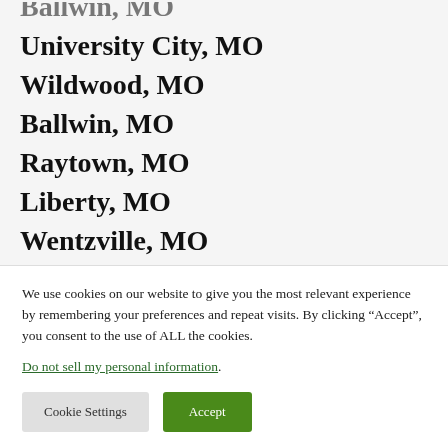Ballwin, MO (partial top)
University City, MO
Wildwood, MO
Ballwin, MO
Raytown, MO
Liberty, MO
Wentzville, MO
Mehlville, MO
Kirkwood, MO
Maryland Heights, MO (partial bottom)
We use cookies on our website to give you the most relevant experience by remembering your preferences and repeat visits. By clicking “Accept”, you consent to the use of ALL the cookies.
Do not sell my personal information.